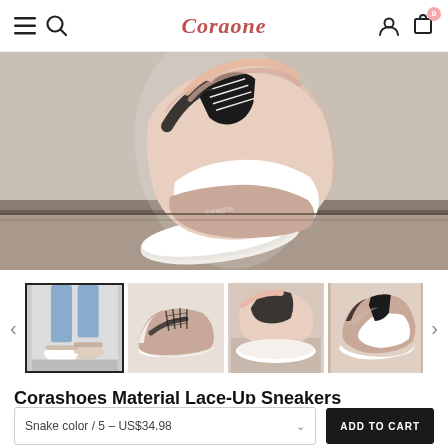Coraone
[Figure (photo): Close-up overhead photo of a pink/beige sneaker with black laces being held over a concrete curb, white sole visible]
[Figure (photo): Four thumbnail images of the Corashoes Material Lace-Up Sneakers from different angles]
Corashoes Material Lace-Up Sneakers
Snake color / 5 – US$34.98
ADD TO CART